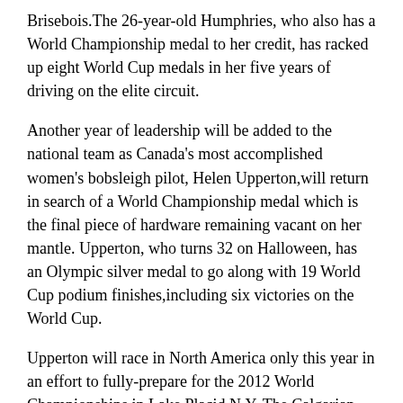Brisebois.The 26-year-old Humphries, who also has a World Championship medal to her credit, has racked up eight World Cup medals in her five years of driving on the elite circuit.
Another year of leadership will be added to the national team as Canada's most accomplished women's bobsleigh pilot, Helen Upperton,will return in search of a World Championship medal which is the final piece of hardware remaining vacant on her mantle. Upperton, who turns 32 on Halloween, has an Olympic silver medal to go along with 19 World Cup podium finishes,including six victories on the World Cup.
Upperton will race in North America only this year in an effort to fully-prepare for the 2012 World Championships in Lake Placid,N.Y. The Calgarian will kick off the season competing on the America's Cup circuit with brakeman, Edmonton's Heather Hughes and Toronto's Diane Kelly, before hitting the start line for both Canadian World Cups in Whistler and Calgary in February.
The team approach will be featured prominently in Olympic bronze medallist Lyndon Rush's sled. The leader of the men's World Cup Team,